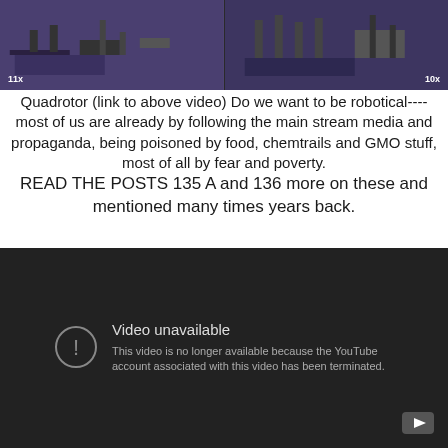[Figure (screenshot): Screenshot of a video player showing a split-screen view of a room with robotic equipment on a purple mat. Left half labeled '11x', right half labeled '10x'. YouTube logo visible at top center.]
Quadrotor (link to above video) Do we want to be robotical----most of us are already by following the main stream media and propaganda, being poisoned by food, chemtrails and GMO stuff, most of all by fear and poverty. READ THE POSTS 135 A and 136 more on these and mentioned many times years back.
[Figure (screenshot): YouTube video unavailable message on dark background. Shows exclamation mark in circle icon and text: 'Video unavailable. This video is no longer available because the YouTube account associated with this video has been terminated.' YouTube play button icon in bottom right corner.]